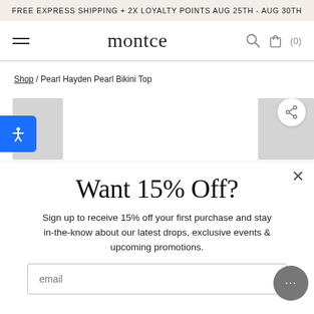FREE EXPRESS SHIPPING + 2X LOYALTY POINTS AUG 25TH - AUG 30TH
montce
Shop / Pearl Hayden Pearl Bikini Top
[Figure (screenshot): Two partial product image thumbnails visible at left and right edges of product area]
Want 15% Off?
Sign up to receive 15% off your first purchase and stay in-the-know about our latest drops, exclusive events & upcoming promotions.
email